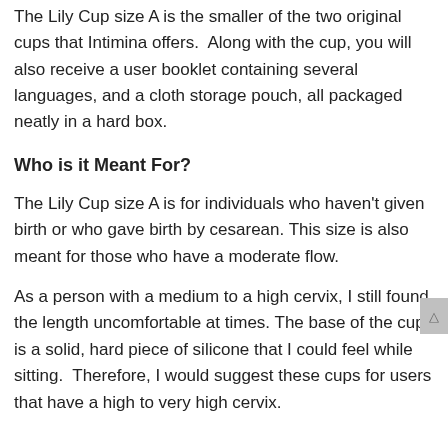The Lily Cup size A is the smaller of the two original cups that Intimina offers. Along with the cup, you will also receive a user booklet containing several languages, and a cloth storage pouch, all packaged neatly in a hard box.
Who is it Meant For?
The Lily Cup size A is for individuals who haven't given birth or who gave birth by cesarean. This size is also meant for those who have a moderate flow.
As a person with a medium to a high cervix, I still found the length uncomfortable at times. The base of the cup is a solid, hard piece of silicone that I could feel while sitting. Therefore, I would suggest these cups for users that have a high to very high cervix.